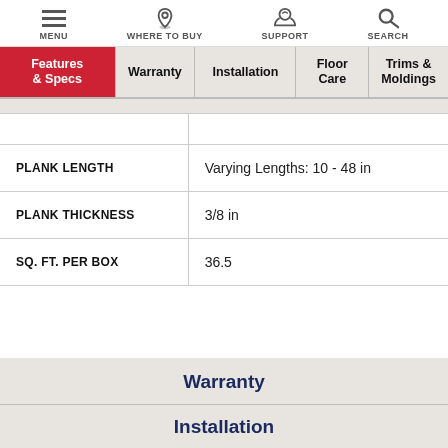MENU | WHERE TO BUY | SUPPORT | SEARCH
|  |  |
| --- | --- |
|  |  |
| PLANK LENGTH | Varying Lengths: 10 - 48 in |
| PLANK THICKNESS | 3/8 in |
| SQ. FT. PER BOX | 36.5 |
Warranty
Installation